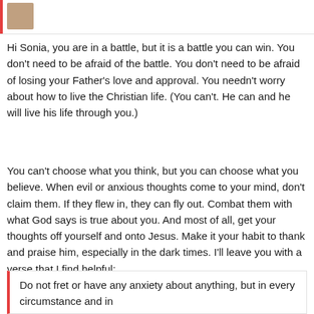[Figure (photo): Small avatar photo of a person in top left corner with red left border bar]
Hi Sonia, you are in a battle, but it is a battle you can win. You don't need to be afraid of the battle. You don't need to be afraid of losing your Father's love and approval. You needn't worry about how to live the Christian life. (You can't. He can and he will live his life through you.)
You can't choose what you think, but you can choose what you believe. When evil or anxious thoughts come to your mind, don't claim them. If they flew in, they can fly out. Combat them with what God says is true about you. And most of all, get your thoughts off yourself and onto Jesus. Make it your habit to thank and praise him, especially in the dark times. I'll leave you with a verse that I find helpful:
Do not fret or have any anxiety about anything, but in every circumstance and in